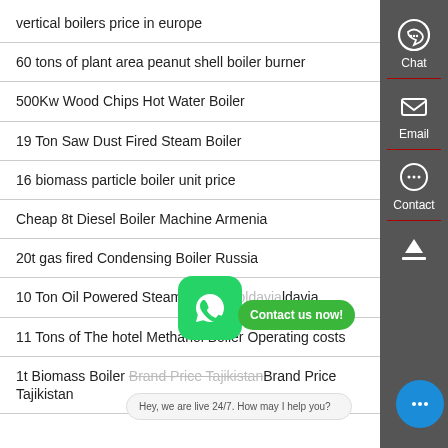vertical boilers price in europe
60 tons of plant area peanut shell boiler burner
500Kw Wood Chips Hot Water Boiler
19 Ton Saw Dust Fired Steam Boiler
16 biomass particle boiler unit price
Cheap 8t Diesel Boiler Machine Armenia
20t gas fired Condensing Boiler Russia
10 Ton Oil Powered Steam Boiler Moldavia
11 Tons of The hotel Methanol Boiler Operating costs
1t Biomass Boiler Brand Price Tajikistan